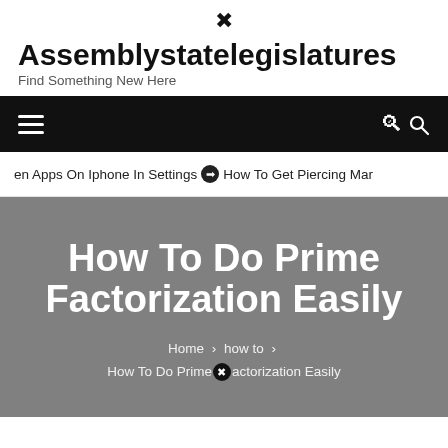Assemblystatelegislatures – Find Something New Here
Navigation bar with hamburger menu and search icon
en Apps On Iphone In Settings  ❯  How To Get Piercing Mar
How To Do Prime Factorization Easily
Home › how to › How To Do Prime Factorization Easily